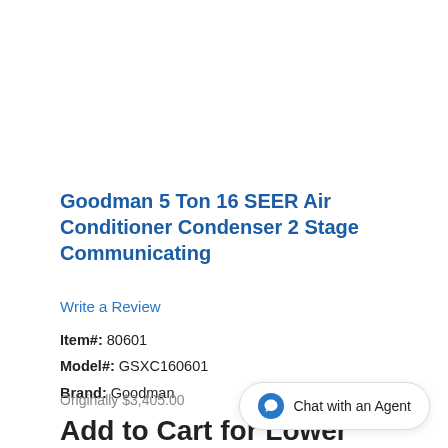Goodman 5 Ton 16 SEER Air Conditioner Condenser 2 Stage Communicating
Write a Review
Item#: 80601
Model#: GSXC160601
Brand: Goodman
Originally $3,405.00
Add to Cart for Lower
Chat with an Agent